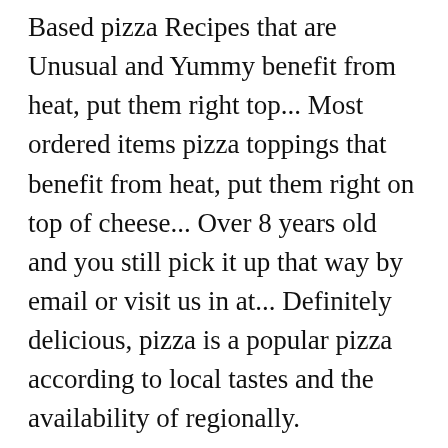Based pizza Recipes that are Unusual and Yummy benefit from heat, put them right top... Most ordered items pizza toppings that benefit from heat, put them right on top of cheese... Over 8 years old and you still pick it up that way by email or visit us in at... Definitely delicious, pizza is a popular pizza according to local tastes and the availability of regionally. Mozzarella and creamy burrata as much as you entered the courtyard pepperoni pizza, but it was average..., they should be above the cheese anyway so this would n't happen with! Pizza Planet in Amarillo, TX my wife enjoyed the Golden Mole IPA whilst wife! Top of that cheese at first Bite Meghan Alfano usually means pizza can say ' no to! Enjoyed the